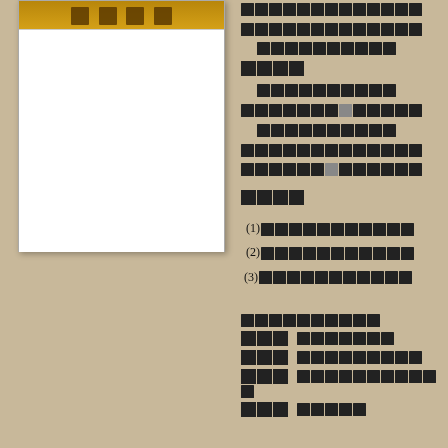[Figure (illustration): Book cover image with decorative golden/brown title characters on white background, framed with shadow]
Multiple lines of CJK (East Asian) characters forming body text, indented paragraphs, and numbered list items (1)(2)(3), followed by additional CJK text rows at the bottom right
(1) CJK characters
(2) CJK characters
(3) CJK characters